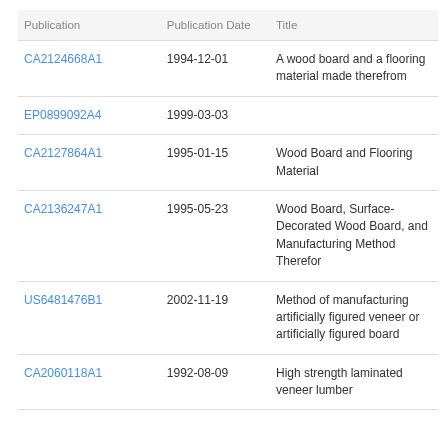| Publication | Publication Date | Title |
| --- | --- | --- |
| CA2124668A1 | 1994-12-01 | A wood board and a flooring material made therefrom |
| EP0899092A4 | 1999-03-03 |  |
| CA2127864A1 | 1995-01-15 | Wood Board and Flooring Material |
| CA2136247A1 | 1995-05-23 | Wood Board, Surface-Decorated Wood Board, and Manufacturing Method Therefor |
| US6481476B1 | 2002-11-19 | Method of manufacturing artificially figured veneer or artificially figured board |
| CA2060118A1 | 1992-08-09 | High strength laminated veneer lumber |